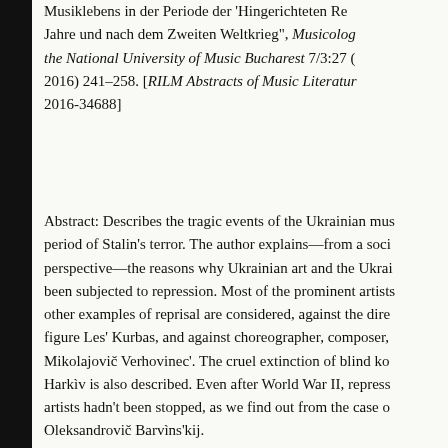Musiklebens in der Periode der 'Hingerichteten Re Jahre und nach dem Zweiten Weltkrieg", Musicolog the National University of Music Bucharest 7/3:27 ( 2016) 241–258. [RILM Abstracts of Music Literatur 2016-34688]
Abstract: Describes the tragic events of the Ukrainian mus period of Stalin's terror. The author explains—from a soci perspective—the reasons why Ukrainian art and the Ukrai been subjected to repression. Most of the prominent artists other examples of reprisal are considered, against the dire figure Les' Kurbas, and against choreographer, composer, Mikolajovič Verhovinec'. The cruel extinction of blind ko Harkìv is also described. Even after World War II, repress artists hadn't been stopped, as we find out from the case o Oleksandrovič Barvìns'kij.